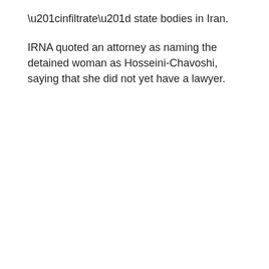“infiltrate” state bodies in Iran.
IRNA quoted an attorney as naming the detained woman as Hosseini-Chavoshi, saying that she did not yet have a lawyer.